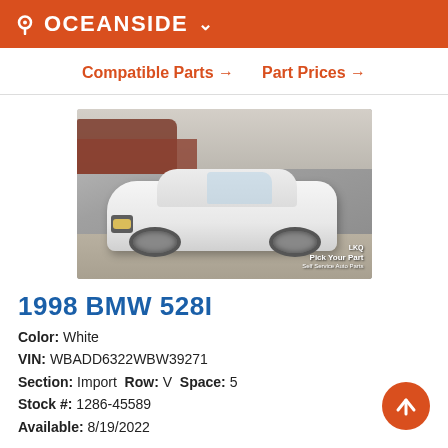OCEANSIDE
Compatible Parts → Part Prices →
[Figure (photo): White 1998 BMW 528I sedan photographed in a junkyard lot with other vehicles visible in background. LKQ Pick Your Part watermark in bottom right corner.]
1998 BMW 528I
Color: White
VIN: WBADD6322WBW39271
Section: Import  Row: V  Space: 5
Stock #: 1286-45589
Available: 8/19/2022